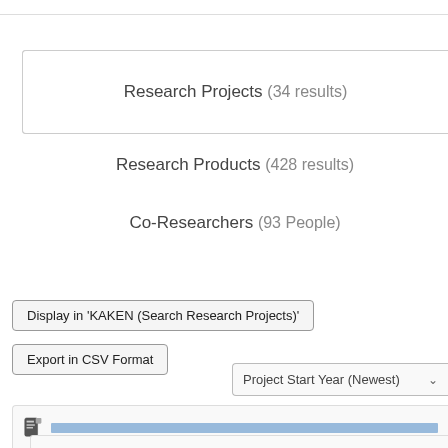Research Projects (34 results)
Research Products (428 results)
Co-Researchers (93 People)
Display in 'KAKEN (Search Research Projects)'
Export in CSV Format
Project Start Year (Newest)
[Figure (screenshot): Document icon followed by a blue underlined link text (obscured/redacted Japanese text)]